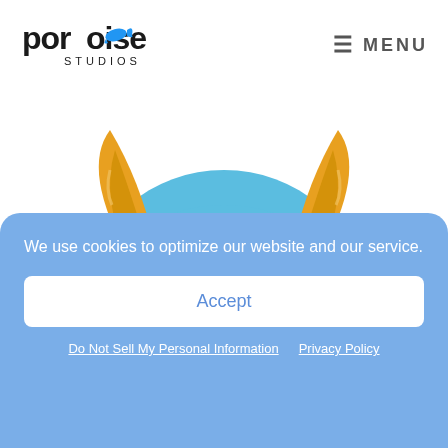porpoise STUDIOS  ≡ MENU
[Figure (illustration): Cartoon blue monster with golden horns and thick black glasses, peeking up from behind a surface, with green eyes and dark eyebrows]
We use cookies to optimize our website and our service.
Accept
Do Not Sell My Personal Information   Privacy Policy